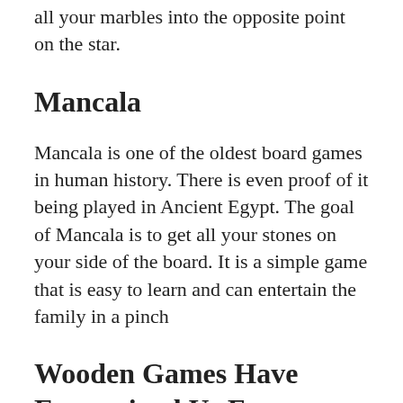all your marbles into the opposite point on the star.
Mancala
Mancala is one of the oldest board games in human history. There is even proof of it being played in Ancient Egypt. The goal of Mancala is to get all your stones on your side of the board. It is a simple game that is easy to learn and can entertain the family in a pinch
Wooden Games Have Entertained Us For Generations
It doesn't always have to be video games or tv shows. Before all those inventions, wooden board